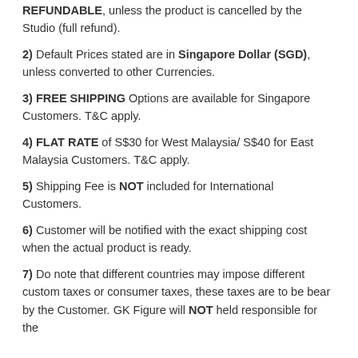REFUNDABLE, unless the product is cancelled by the Studio (full refund).
2) Default Prices stated are in Singapore Dollar (SGD), unless converted to other Currencies.
3) FREE SHIPPING Options are available for Singapore Customers. T&C apply.
4) FLAT RATE of S$30 for West Malaysia/ S$40 for East Malaysia Customers. T&C apply.
5) Shipping Fee is NOT included for International Customers.
6) Customer will be notified with the exact shipping cost when the actual product is ready.
7) Do note that different countries may impose different custom taxes or consumer taxes, these taxes are to be bear by the Customer. GK Figure will NOT held responsible for the